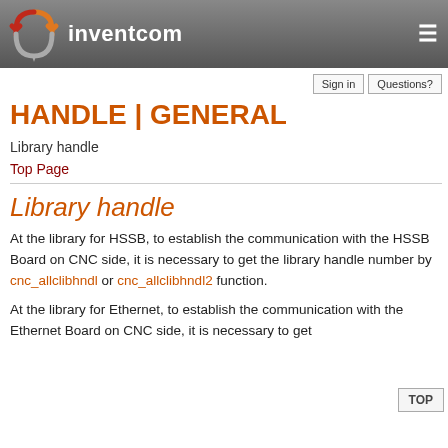inventcom
HANDLE | GENERAL
Library handle
Top Page
Library handle
At the library for HSSB, to establish the communication with the HSSB Board on CNC side, it is necessary to get the library handle number by cnc_allclibhndl or cnc_allclibhndl2 function.
At the library for Ethernet, to establish the communication with the Ethernet Board on CNC side, it is necessary to get